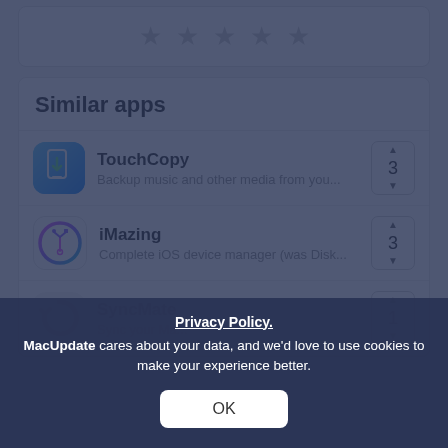[Figure (illustration): Five empty star rating icons displayed in a row on a white card]
Similar apps
TouchCopy — Backup music and other media from you...  [3]
iMazing — Complete iOS device manager (was Disk... [3]
SyncMate — Sync your Mac... [1]
WALTR — Convert and drop... directly into... [1]
Privacy Policy.
MacUpdate cares about your data, and we'd love to use cookies to make your experience better.
OK